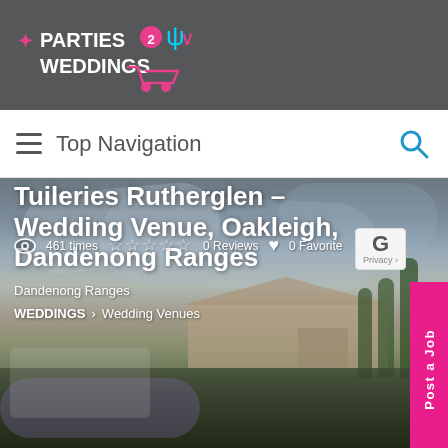[Figure (logo): Parties2Weddings logo with shopping cart icon on dark grey background]
Top Navigation
[Figure (photo): Outdoor wedding venue photo with overcast sky, building and palm trees in background]
Tuileries Rutherglen – Wedding Venue, Oakleigh, Dandenong Ranges
Dandenong Ranges
WEDDINGS > Wedding Venues
461 times  ☆ ☆ ☆ ☆ ☆  0 Reviews  ♥ 0 Favorite